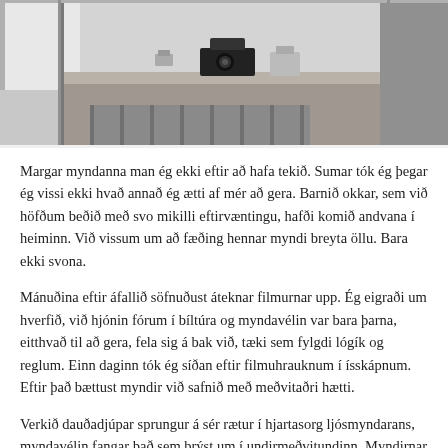[Figure (photo): Black and white photograph showing a counter or table top with a camera and other objects, with what appears to be a radiator or heat element in the foreground, cropped at top.]
Margar myndanna man ég ekki eftir að hafa tekið. Sumar tók ég þegar ég vissi ekki hvað annað ég ætti af mér að gera. Barnið okkar, sem við höfðum beðið með svo mikilli eftirvæntingu, hafði komið andvana í heiminn. Við vissum um að fæðing hennar myndi breyta öllu. Bara ekki svona.
Mánuðina eftir áfallið söfnuðust áteknar filmurnar upp. Ég eigraði um hverfið, við hjónin fórum í bíltúra og myndavélin var bara þarna, eitthvað til að gera, fela sig á bak við, tæki sem fylgdi lógík og reglum. Einn daginn tók ég síðan eftir filmuhrauknum í ísskápnum. Eftir það bættust myndir við safnið með meðvitaðri hætti.
Verkið dauðadjúpar sprungur á sér rætur í hjartasorg ljósmyndarans, myndavélin fangar það sem brýst um í undirmeðvitundinn. Myndirnar sýna hvernig bæði það sem á